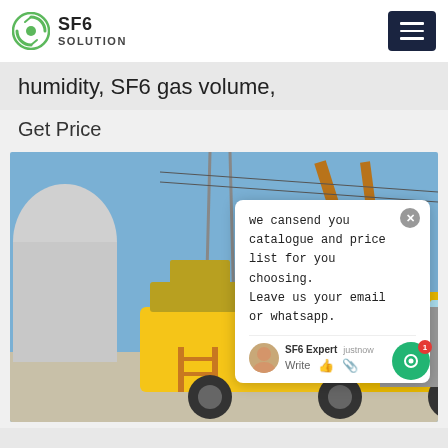SF6 SOLUTION
humidity, SF6 gas volume,
Get Price
[Figure (photo): Yellow SF6 service truck parked at an electrical substation with large transformers and power lines in the background. The truck has equipment mounted on it including what appears to be SF6 gas handling equipment. Blue sky with some infrastructure visible. A live chat popup overlay is displayed on the right side of the image.]